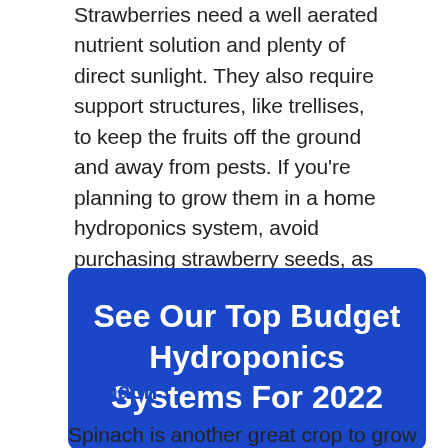Strawberries need a well aerated nutrient solution and plenty of direct sunlight. They also require support structures, like trellises, to keep the fruits off the ground and away from pests. If you're planning to grow them in a home hydroponics system, avoid purchasing strawberry seeds, as they won't be ready with berries for a couple of years. Switch seeds with cold-stored options that are already at a growing stage.
[Figure (other): Blue rounded rectangle banner with white bold text: See Our Top Budget Hydroponics Systems For 2022]
Spinach
Spinach is another great crop to grow in a hydroponic system. It's a leafy vegetable high in nutrients, including iron and